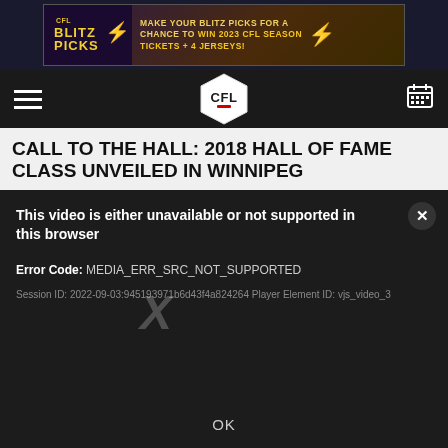[Figure (infographic): CFL Blitz Picks advertisement banner: dark purple/gold background with CFL Blitz Picks logo on left and text 'MAKE YOUR BLITZ PICKS FOR A CHANCE TO WIN 2023 CFL SEASON TICKETS + 4 JERSEYS!' with lightning bolt icon]
CFL logo centered in navigation bar with hamburger menu on left and calendar icon on right
CALL TO THE HALL: 2018 HALL OF FAME CLASS UNVEILED IN WINNIPEG
This video is either unavailable or not supported in this browser
Error Code: MEDIA_ERR_SRC_NOT_SUPPORTED
Session ID: 2022-09-03:945193971b6d43f4a824264 Player Element ID: vjs_video_3
OK